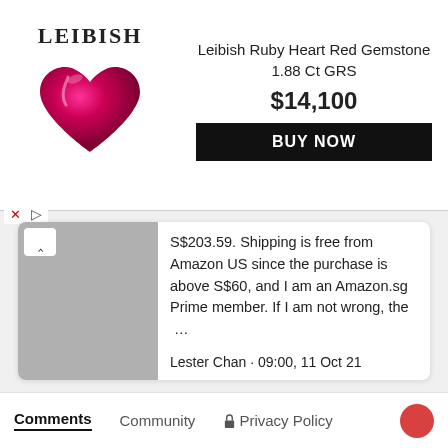[Figure (advertisement): Leibish advertisement banner showing a ruby heart gemstone with text 'Leibish Ruby Heart Red Gemstone 1.88 Ct GRS', price $14,100, and a black BUY NOW button.]
S$203.59. Shipping is free from Amazon US since the purchase is above S$60, and I am an Amazon.sg Prime member. If I am not wrong, the …
Lester Chan · 09:00, 11 Oct 21
Advertisement
Comments   Community   🔒 Privacy Policy